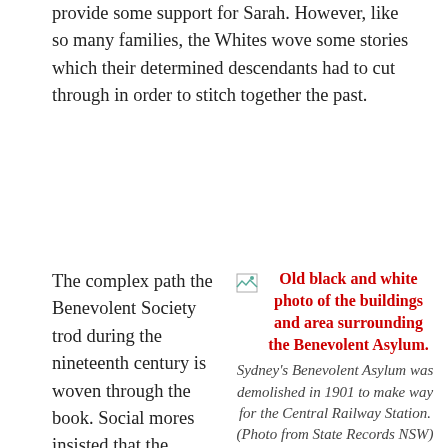provide some support for Sarah. However, like so many families, the Whites wove some stories which their determined descendants had to cut through in order to stitch together the past.
The complex path the Benevolent Society trod during the nineteenth century is woven through the book. Social mores insisted that the Benevolent Society only give money to the 'deserving poor' and that the organisation should not encourage immorality by supporting unmarried mothers giving birth
[Figure (photo): Old black and white photo of the buildings and area surrounding the Benevolent Asylum. [Image broken/not loaded]]
Sydney's Benevolent Asylum was demolished in 1901 to make way for the Central Railway Station. (Photo from State Records NSW)